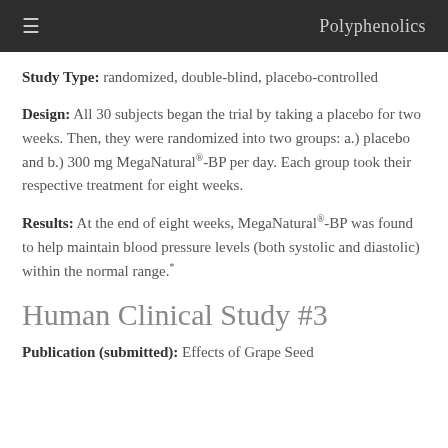≡  Polyphenolics
Study Type: randomized, double-blind, placebo-controlled
Design: All 30 subjects began the trial by taking a placebo for two weeks. Then, they were randomized into two groups: a.) placebo and b.) 300 mg MegaNatural®-BP per day. Each group took their respective treatment for eight weeks.
Results: At the end of eight weeks, MegaNatural®-BP was found to help maintain blood pressure levels (both systolic and diastolic) within the normal range.*
Human Clinical Study #3
Publication (submitted): Effects of Grape Seed